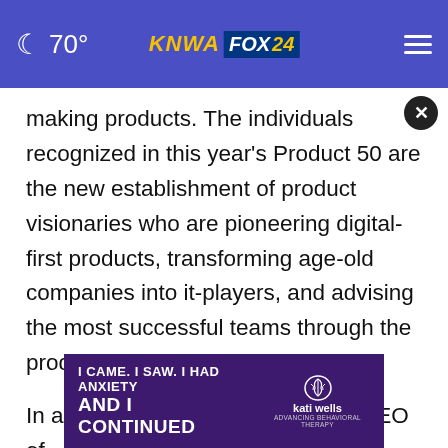70° KNWA FOX24
making products. The individuals recognized in this year's Product 50 are the new establishment of product visionaries who are pioneering digital-first products, transforming age-old companies into it-players, and advising the most successful teams through the product development process.
In addition to being the Founding CEO of Products That Count, Moatti is also the Foun... firm Mighty Capital. She is the author of...
[Figure (screenshot): Advertisement overlay: purple banner with text 'I CAME. I SAW. I HAD ANXIETY AND I CONTINUED' alongside Kati Wells logo for behavioral therapy. Has a circular close button (×).]